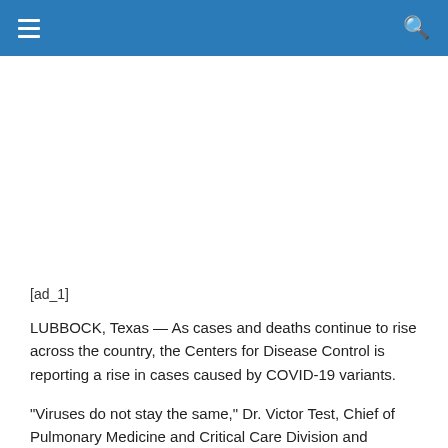[ad_1]
LUBBOCK, Texas — As cases and deaths continue to rise across the country, the Centers for Disease Control is reporting a rise in cases caused by COVID-19 variants.
“Viruses do not stay the same,” Dr. Victor Test, Chief of Pulmonary Medicine and Critical Care Division and Director of Medical ICU at Texas